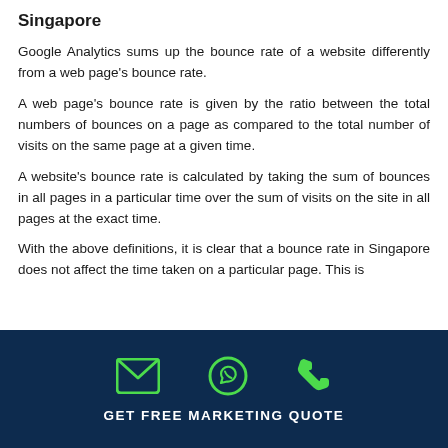Singapore
Google Analytics sums up the bounce rate of a website differently from a web page's bounce rate.
A web page's bounce rate is given by the ratio between the total numbers of bounces on a page as compared to the total number of visits on the same page at a given time.
A website's bounce rate is calculated by taking the sum of bounces in all pages in a particular time over the sum of visits on the site in all pages at the exact time.
With the above definitions, it is clear that a bounce rate in Singapore does not affect the time taken on a particular page. This is
GET FREE MARKETING QUOTE